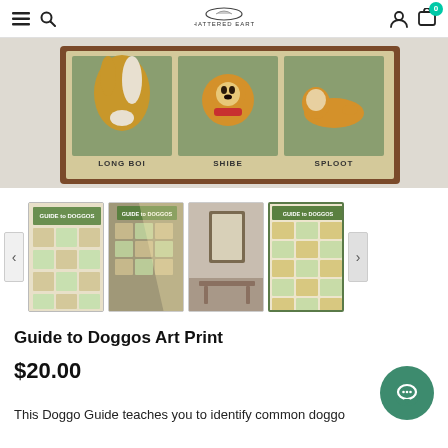Shattered Earth — navigation bar with menu, search, logo, account, cart (0)
[Figure (photo): Hero image showing a framed poster with illustrated dogs labeled LONG BOI, SHIBE, SPLOOT on a wood-grain background]
[Figure (photo): Thumbnail 1: Guide to Doggos poster flat]
[Figure (photo): Thumbnail 2: Guide to Doggos poster on wall in sunlight]
[Figure (photo): Thumbnail 3: Guide to Doggos poster framed on wall]
[Figure (photo): Thumbnail 4 (active): Guide to Doggos poster close-up grid of dog illustrations]
Guide to Doggos Art Print
$20.00
This Doggo Guide teaches you to identify common doggo